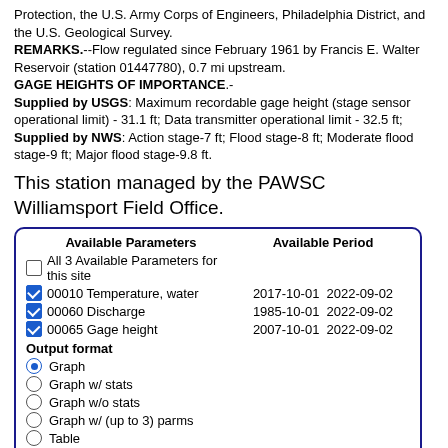Protection, the U.S. Army Corps of Engineers, Philadelphia District, and the U.S. Geological Survey. REMARKS.--Flow regulated since February 1961 by Francis E. Walter Reservoir (station 01447780), 0.7 mi upstream. GAGE HEIGHTS OF IMPORTANCE.- Supplied by USGS: Maximum recordable gage height (stage sensor operational limit) - 31.1 ft; Data transmitter operational limit - 32.5 ft; Supplied by NWS: Action stage-7 ft; Flood stage-8 ft; Moderate flood stage-9 ft; Major flood stage-9.8 ft.
This station managed by the PAWSC Williamsport Field Office.
| Available Parameters | Available Period |
| --- | --- |
| All 3 Available Parameters for this site |  |
| 00010 Temperature, water | 2017-10-01  2022-09-02 |
| 00060 Discharge | 1985-10-01  2022-09-02 |
| 00065 Gage height | 2007-10-01  2022-09-02 |
| Output format |  |
| Graph |  |
| Graph w/ stats |  |
| Graph w/o stats |  |
| Graph w/ (up to 3) parms |  |
| Table |  |
| Tab-separated |  |